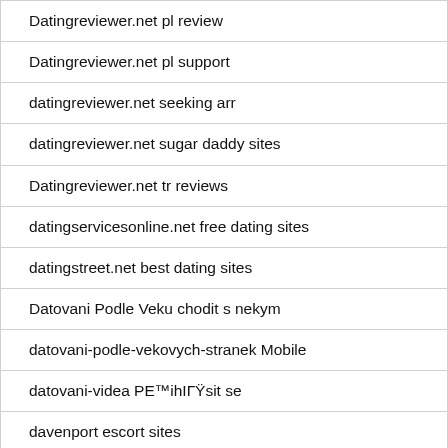Datingreviewer.net pl review
Datingreviewer.net pl support
datingreviewer.net seeking arr
datingreviewer.net sugar daddy sites
Datingreviewer.net tr reviews
datingservicesonline.net free dating sites
datingstreet.net best dating sites
Datovani Podle Veku chodit s nekym
datovani-podle-vekovych-stranek Mobile
datovani-videa PE™ihIГŸsit se
davenport escort sites